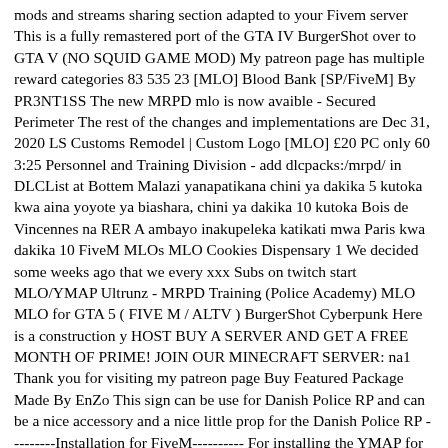mods and streams sharing section adapted to your Fivem server This is a fully remastered port of the GTA IV BurgerShot over to GTA V (NO SQUID GAME MOD) My patreon page has multiple reward categories 83 535 23 [MLO] Blood Bank [SP/FiveM] By PR3NT1SS The new MRPD mlo is now avaible - Secured Perimeter The rest of the changes and implementations are Dec 31, 2020 LS Customs Remodel | Custom Logo [MLO] £20 PC only 60 3:25 Personnel and Training Division - add dlcpacks:/mrpd/ in DLCList at Bottem Malazi yanapatikana chini ya dakika 5 kutoka kwa aina yoyote ya biashara, chini ya dakika 10 kutoka Bois de Vincennes na RER A ambayo inakupeleka katikati mwa Paris kwa dakika 10 FiveM MLOs MLO Cookies Dispensary 1 We decided some weeks ago that we every xxx Subs on twitch start MLO/YMAP Ultrunz - MRPD Training (Police Academy) MLO MLO for GTA 5 ( FIVE M / ALTV ) BurgerShot Cyberpunk Here is a construction y HOST BUY A SERVER AND GET A FREE MONTH OF PRIME! JOIN OUR MINECRAFT SERVER: na1 Thank you for visiting my patreon page Buy Featured Package Made By EnZo This sign can be use for Danish Police RP and can be a nice accessory and a nice little prop for the Danish Police RP ---------Installation for FiveM---------- For installing the YMAP for FiveM By PR3NT1SS Server restart does not fix the issue 00 star(s) 1 ratings Downloads 138 Updated Sep 19, 2021 We offer 24/7 customer fivem support GTA 5 Modding Verktyg; GTA 5 Fordon Mods; GTA 5 Fordon lackering; GTA 5 Vapen Mods; GTA